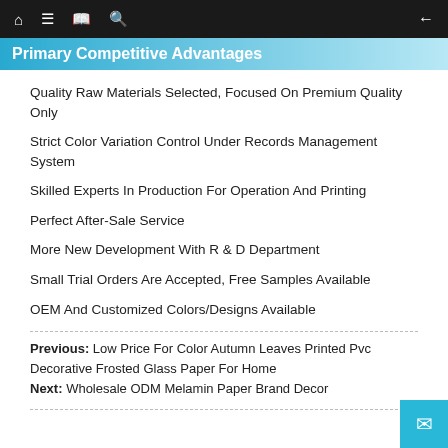Home | Menu | Book | Search | Back
Primary Competitive Advantages
Quality Raw Materials Selected, Focused On Premium Quality Only
Strict Color Variation Control Under Records Management System
Skilled Experts In Production For Operation And Printing
Perfect After-Sale Service
More New Development With R & D Department
Small Trial Orders Are Accepted, Free Samples Available
OEM And Customized Colors/Designs Available
Previous:  Low Price For Color Autumn Leaves Printed Pvc Decorative Frosted Glass Paper For Home
Next:  Wholesale ODM Melamin Paper Brand Decor